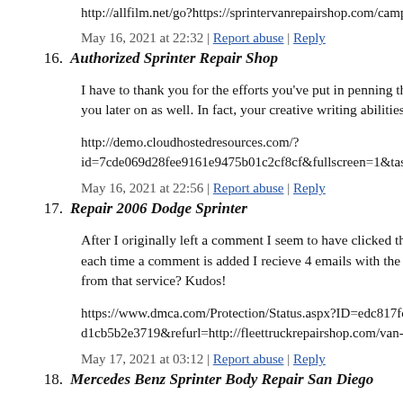http://allfilm.net/go?https://sprintervanrepairshop.com/camper-…
May 16, 2021 at 22:32 | Report abuse | Reply
16. Authorized Sprinter Repair Shop
I have to thank you for the efforts you've put in penning this w… you later on as well. In fact, your creative writing abilities has…
http://demo.cloudhostedresources.com/?id=7cde069d28fee9161e9475b01c2cf8cf&fullscreen=1&task=…
May 16, 2021 at 22:56 | Report abuse | Reply
17. Repair 2006 Dodge Sprinter
After I originally left a comment I seem to have clicked the -N… each time a comment is added I recieve 4 emails with the exa… from that service? Kudos!
https://www.dmca.com/Protection/Status.aspx?ID=edc817fd-d… d1cb5b2e3719&refurl=http://fleettruckrepairshop.com/van-tec…
May 17, 2021 at 03:12 | Report abuse | Reply
18. Mercedes Benz Sprinter Body Repair San Diego
Hi there! I just want to give you a big thumbs up for the great i…